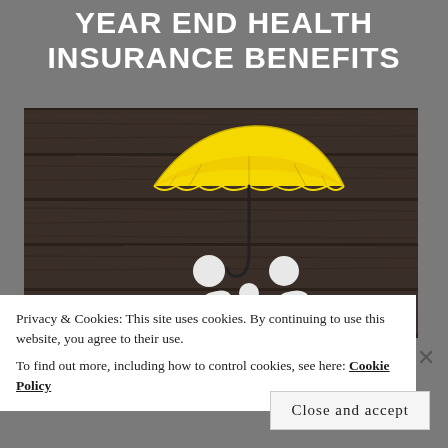YEAR END HEALTH INSURANCE BENEFITS
[Figure (photo): A yellow paper umbrella on a dark wooden plank background, with white paper cutout figures of two people sitting beneath the umbrella, representing health insurance coverage.]
Privacy & Cookies: This site uses cookies. By continuing to use this website, you agree to their use.
To find out more, including how to control cookies, see here: Cookie Policy
Close and accept